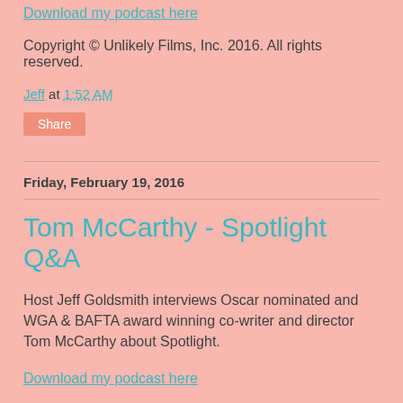Download my podcast here
Copyright © Unlikely Films, Inc. 2016. All rights reserved.
Jeff at 1:52 AM
Share
Friday, February 19, 2016
Tom McCarthy - Spotlight Q&A
Host Jeff Goldsmith interviews Oscar nominated and WGA & BAFTA award winning co-writer and director Tom McCarthy about Spotlight.
Download my podcast here
Copyright © Unlikely Films, Inc. 2016. All rights reserved.
Jeff at 5:32 PM